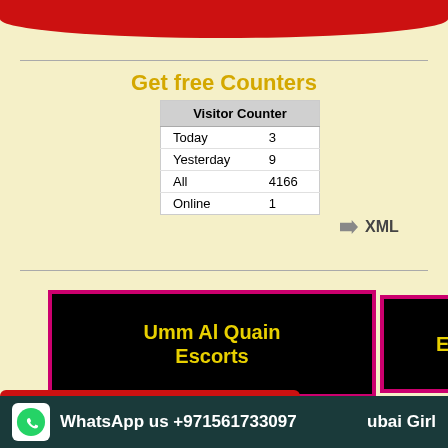[Figure (other): Red arc/banner at top of page]
Get free Counters
| Visitor Counter |
| --- |
| Today | 3 |
| Yesterday | 9 |
| All | 4166 |
| Online | 1 |
→ XML
[Figure (infographic): Umm Al Quain Escorts - black button with yellow text and pink border]
[Figure (infographic): Escorts In Dubai - black button with yellow text and pink border]
[Figure (infographic): xo - black button with yellow text and pink border]
[Figure (infographic): Dubai Escort - black button with yellow text and pink border]
[Figure (infographic): Call Now! +971561733097 red banner with phone icon]
[Figure (infographic): WhatsApp us +971561733097 Dubai Girl - dark teal bottom bar]